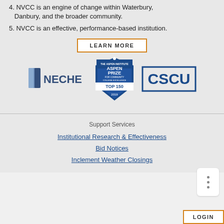4. NVCC is an engine of change within Waterbury, Danbury, and the broader community.
5. NVCC is an effective, performance-based institution.
LEARN MORE
[Figure (logo): NECHE logo with book icon and text NECHE]
[Figure (logo): Aspen Prize for Community College Excellence TOP 150 2019 badge]
[Figure (logo): CSCU logo in blue rectangle border]
Support Services
Institutional Research & Effectiveness
Bid Notices
Inclement Weather Closings
LOGIN